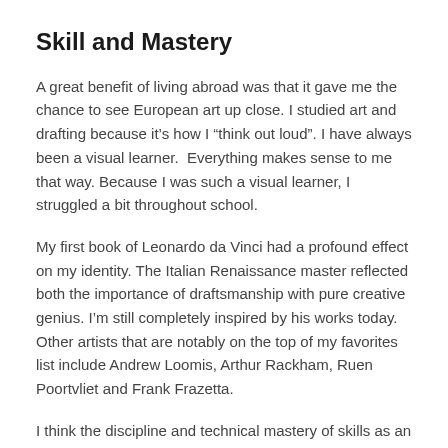Skill and Mastery
A great benefit of living abroad was that it gave me the chance to see European art up close. I studied art and drafting because it’s how I “think out loud”. I have always been a visual learner.  Everything makes sense to me that way. Because I was such a visual learner, I struggled a bit throughout school.
My first book of Leonardo da Vinci had a profound effect on my identity. The Italian Renaissance master reflected both the importance of draftsmanship with pure creative genius. I’m still completely inspired by his works today. Other artists that are notably on the top of my favorites list include Andrew Loomis, Arthur Rackham, Ruen Poortvliet and Frank Frazetta.
I think the discipline and technical mastery of skills as an artist is a key to being an exceptional illustrator that is